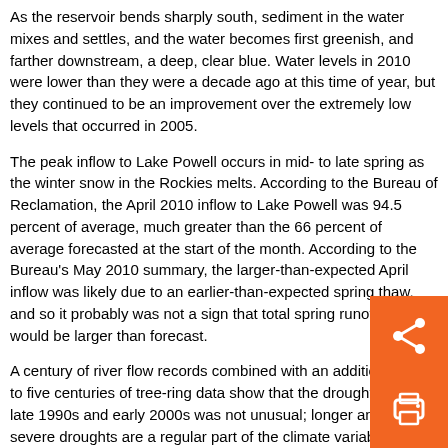As the reservoir bends sharply south, sediment in the water mixes and settles, and the water becomes first greenish, and farther downstream, a deep, clear blue. Water levels in 2010 were lower than they were a decade ago at this time of year, but they continued to be an improvement over the extremely low levels that occurred in 2005.
The peak inflow to Lake Powell occurs in mid- to late spring as the winter snow in the Rockies melts. According to the Bureau of Reclamation, the April 2010 inflow to Lake Powell was 94.5 percent of average, much greater than the 66 percent of average forecasted at the start of the month. According to the Bureau's May 2010 summary, the larger-than-expected April inflow was likely due to an earlier-than-expected spring thaw, and so it probably was not a sign that total spring runoff volume would be larger than forecast.
A century of river flow records combined with an additional four to five centuries of tree-ring data show that the drought of the late 1990s and early 2000s was not unusual; longer and more severe droughts are a regular part of the climate variability in that part of the continent. Global warming is expected to make droughts more severe in the future. Precipitation declines combined with booming urban populations will present a significant challenge to Western water managers in the near future.